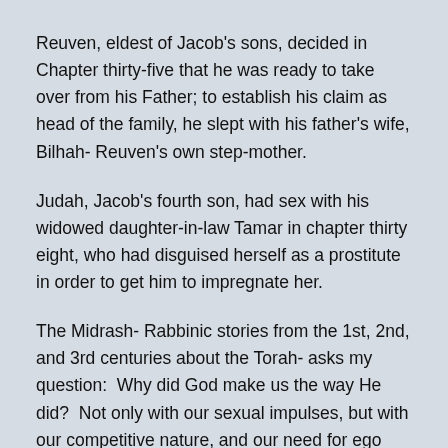Reuven, eldest of Jacob's sons, decided in Chapter thirty-five that he was ready to take over from his Father; to establish his claim as head of the family, he slept with his father's wife, Bilhah- Reuven's own step-mother.
Judah, Jacob's fourth son, had sex with his widowed daughter-in-law Tamar in chapter thirty eight, who had disguised herself as a prostitute in order to get him to impregnate her.
The Midrash- Rabbinic stories from the 1st, 2nd, and 3rd centuries about the Torah- asks my question:  Why did God make us the way He did?  Not only with our sexual impulses, but with our competitive nature, and our need for ego gratification, and our selfish inclination, and our